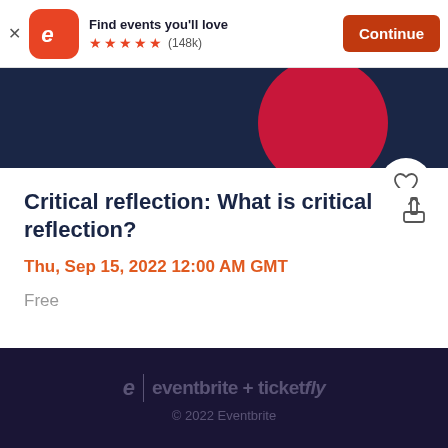[Figure (screenshot): Eventbrite app install banner with orange logo, five stars, (148k) reviews, and Continue button]
[Figure (illustration): Dark navy hero banner with a large crimson circle and a heart/favorite button overlay]
Critical reflection: What is critical reflection?
Thu, Sep 15, 2022 12:00 AM GMT
Free
eventbrite + ticketfly
© 2022 Eventbrite